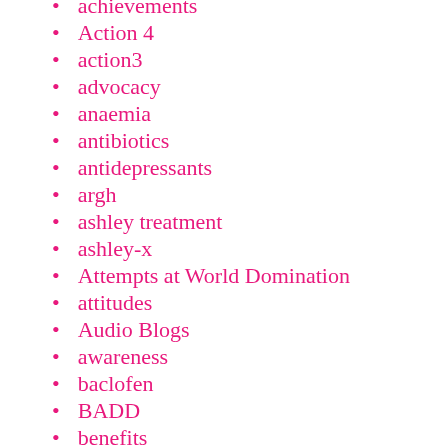achievements
Action 4
action3
advocacy
anaemia
antibiotics
antidepressants
argh
ashley treatment
ashley-x
Attempts at World Domination
attitudes
Audio Blogs
awareness
baclofen
BADD
benefits